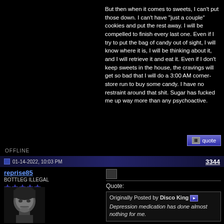But then when it comes to sweets, I can't put those down. I can't have "just a couple" cookies and put the rest away. I will be compelled to finish every last one. Even if I try to put the bag of candy out of sight, I will know where it is, I will be thinking about it, and I will retrieve it and eat it. Even if I don't keep sweets in the house, the cravings will get so bad that I will do a 3:00 AM corner-store run to buy some candy. I have no restraint around that shit. Sugar has fucked me up way more than any psychoactive.
OFFLINE
01-14-2022, 10:03 PM
3344
reprise85
BOTTLEG ILLEGAL
[Figure (photo): Black and white avatar photo of a person with dark hair]
Quote: Originally Posted by Disco King — Depression medication has done almost nothing for me.